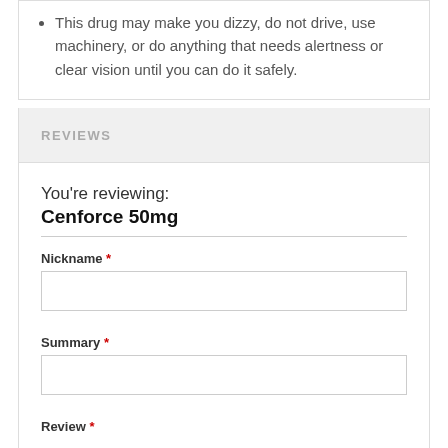This drug may make you dizzy, do not drive, use machinery, or do anything that needs alertness or clear vision until you can do it safely.
REVIEWS
You're reviewing:
Cenforce 50mg
Nickname *
Summary *
Review *